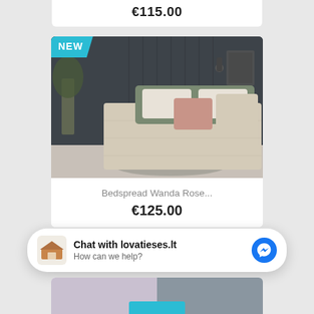€115.00
[Figure (photo): Bedroom with beige/cream bedspread and pink decorative pillows against a dark grey wall. NEW badge in teal in top-left corner.]
Bedspread Wanda Rose...
€125.00
Chat with lovatieses.lt
How can we help?
[Figure (photo): Partially visible product images at bottom of page]